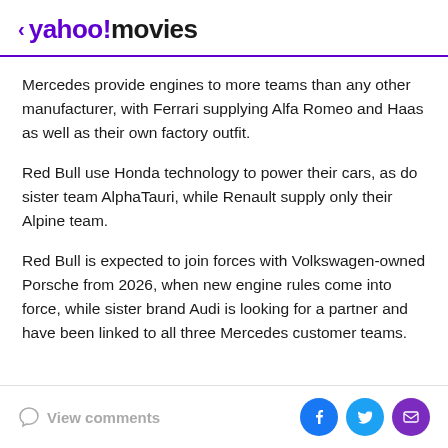< yahoo!movies
Mercedes provide engines to more teams than any other manufacturer, with Ferrari supplying Alfa Romeo and Haas as well as their own factory outfit.
Red Bull use Honda technology to power their cars, as do sister team AlphaTauri, while Renault supply only their Alpine team.
Red Bull is expected to join forces with Volkswagen-owned Porsche from 2026, when new engine rules come into force, while sister brand Audi is looking for a partner and have been linked to all three Mercedes customer teams.
View comments